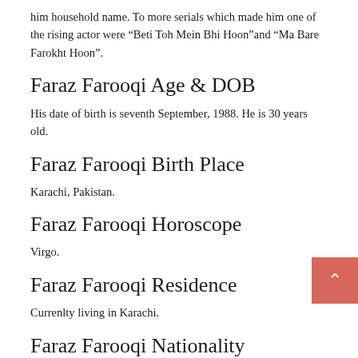him household name. To more serials which made him one of the rising actor were “Beti Toh Mein Bhi Hoon”and “Ma Bare Farokht Hoon”.
Faraz Farooqi Age & DOB
His date of birth is seventh September, 1988. He is 30 years old.
Faraz Farooqi Birth Place
Karachi, Pakistan.
Faraz Farooqi Horoscope
Virgo.
Faraz Farooqi Residence
Currenlty living in Karachi.
Faraz Farooqi Nationality